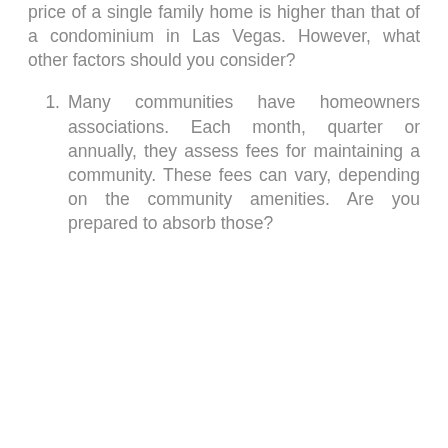price of a single family home is higher than that of a condominium in Las Vegas. However, what other factors should you consider?
Many communities have homeowners associations. Each month, quarter or annually, they assess fees for maintaining a community. These fees can vary, depending on the community amenities. Are you prepared to absorb those?